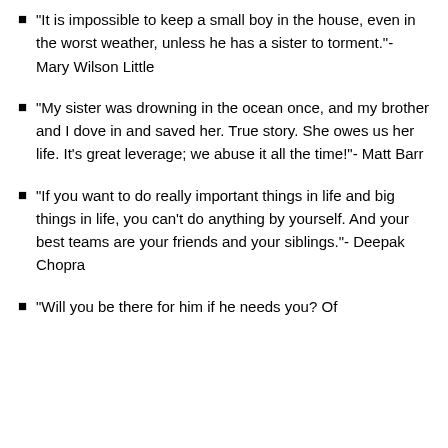“It is impossible to keep a small boy in the house, even in the worst weather, unless he has a sister to torment.”- Mary Wilson Little
“My sister was drowning in the ocean once, and my brother and I dove in and saved her. True story. She owes us her life. It’s great leverage; we abuse it all the time!”- Matt Barr
“If you want to do really important things in life and big things in life, you can’t do anything by yourself. And your best teams are your friends and your siblings.”- Deepak Chopra
“Will you be there for him if he needs you? Of